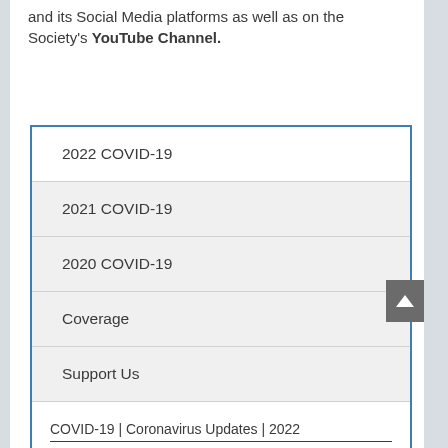and its Social Media platforms as well as on the Society's YouTube Channel.
2022 COVID-19
2021 COVID-19
2020 COVID-19
Coverage
Support Us
COVID-19 | Coronavirus Updates | 2022